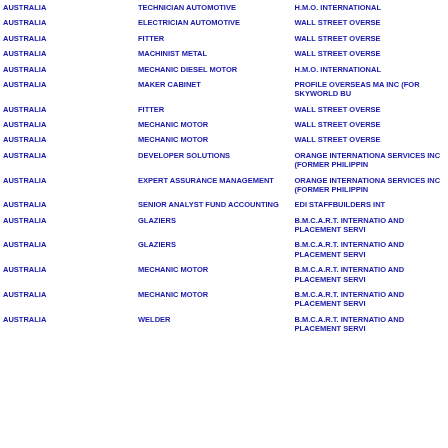| Country | Job Title | Agency |
| --- | --- | --- |
| AUSTRALIA | TECHNICIAN AUTOMOTIVE | H.M.O. INTERNATIONAL |
| AUSTRALIA | ELECTRICIAN AUTOMOTIVE | WALL STREET OVERSE |
| AUSTRALIA | FITTER | WALL STREET OVERSE |
| AUSTRALIA | MACHINIST METAL | WALL STREET OVERSE |
| AUSTRALIA | MECHANIC DIESEL MOTOR | H.M.O. INTERNATIONAL |
| AUSTRALIA | MAKER CABINET | PROFILE OVERSEAS MA INC (FOR SKYWORLD BU |
| AUSTRALIA | FITTER | WALL STREET OVERSE |
| AUSTRALIA | MECHANIC MOTOR | WALL STREET OVERSE |
| AUSTRALIA | MECHANIC MOTOR | WALL STREET OVERSE |
| AUSTRALIA | DEVELOPER SOLUTIONS | ORANGE INTERNATIONA SERVICES INC (FORMER PHILIPPIN |
| AUSTRALIA | EXPERT ASSURANCE MANAGEMENT | ORANGE INTERNATIONA SERVICES INC (FORMER PHILIPPIN |
| AUSTRALIA | SENIOR ANALYST FUND ACCOUNTING | EDI STAFFBUILDERS INT |
| AUSTRALIA | GLAZIERS | B.M.C.A.R.T. INTERNATIO AND PLACEMENT SERVI |
| AUSTRALIA | GLAZIERS | B.M.C.A.R.T. INTERNATIO AND PLACEMENT SERVI |
| AUSTRALIA | MECHANIC MOTOR | B.M.C.A.R.T. INTERNATIO AND PLACEMENT SERVI |
| AUSTRALIA | MECHANIC MOTOR | B.M.C.A.R.T. INTERNATIO AND PLACEMENT SERVI |
| AUSTRALIA | WELDER | B.M.C.A.R.T. INTERNATIO AND PLACEMENT SERVI |